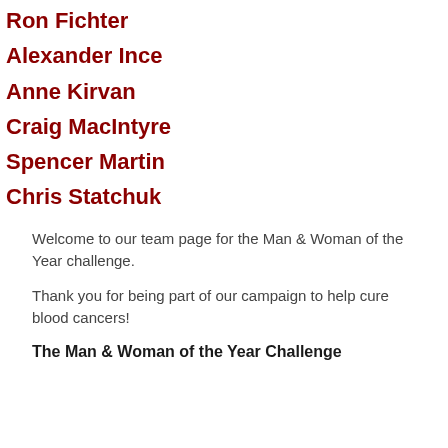Ron Fichter
Alexander Ince
Anne Kirvan
Craig MacIntyre
Spencer Martin
Chris Statchuk
Welcome to our team page for the Man & Woman of the Year challenge.
Thank you for being part of our campaign to help cure blood cancers!
The Man & Woman of the Year Challenge